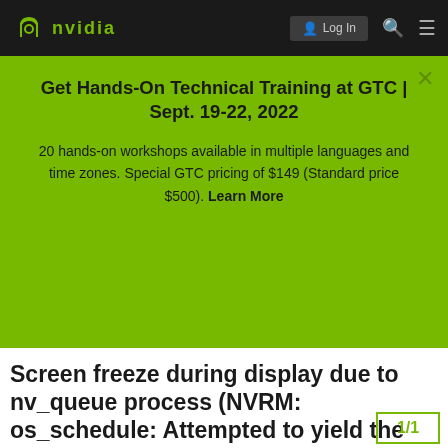NVIDIA — Log In
Get Hands-On Technical Training at GTC | Sept. 19-22, 2022
20 hands-on workshops available in multiple languages and time zones. Special GTC pricing of $149 (Standard price $500). Learn More
Screen freeze during display due to nv_queue process (NVRM: os_schedule: Attempted to yield the CPU while in atomic or interrupt context)
1/1